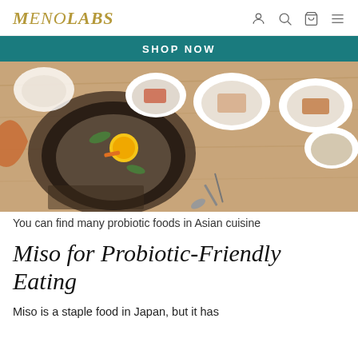MENOLABS
SHOP NOW
[Figure (photo): Overhead view of Asian food dishes on a wooden table including a large black bowl of bibimbap with egg yolk, and several smaller bowls with side dishes]
You can find many probiotic foods in Asian cuisine
Miso for Probiotic-Friendly Eating
Miso is a staple food in Japan, but it has